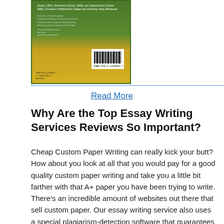[Figure (photo): Back cover of a book with green and yellow design, small text, and a barcode on the lower right.]
Read More
Why Are the Top Essay Writing Services Reviews So Important?
Cheap Custom Paper Writing can really kick your butt? How about you look at all that you would pay for a good quality custom paper writing and take you a little bit farther with that A+ paper you have been trying to write. There's an incredible amount of websites out there that sell custom paper. Our essay writing service also uses a special plagiarism-detection software that guarantees that you will receive a unique paper. Our cheap essays are checked for coincidences in open-source texts, as well as for poorly formatted quotations. So, in the end of my review about blogger.com I'd like to say, that it is a group of expert scholastic writers, who prepared to help each student with their essays tasks. I can't say, that it's the best essay writing company with good customer reviews, but .